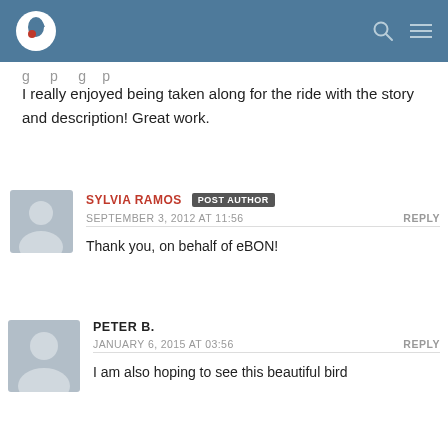Site header with logo and navigation icons
I really enjoyed being taken along for the ride with the story and description! Great work.
SYLVIA RAMOS POST AUTHOR
SEPTEMBER 3, 2012 AT 11:56  REPLY
Thank you, on behalf of eBON!
PETER B.
JANUARY 6, 2015 AT 03:56  REPLY
I am also hoping to see this beautiful bird